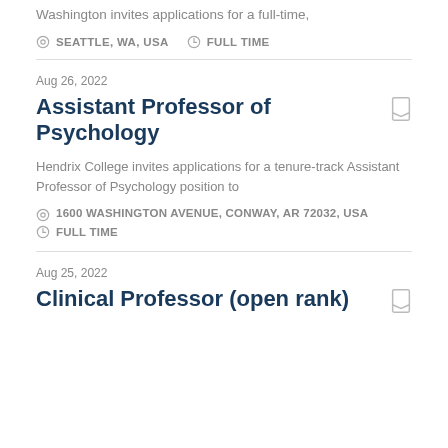Washington invites applications for a full-time,
SEATTLE, WA, USA   FULL TIME
Aug 26, 2022
Assistant Professor of Psychology
Hendrix College invites applications for a tenure-track Assistant Professor of Psychology position to
1600 WASHINGTON AVENUE, CONWAY, AR 72032, USA
FULL TIME
Aug 25, 2022
Clinical Professor (open rank)